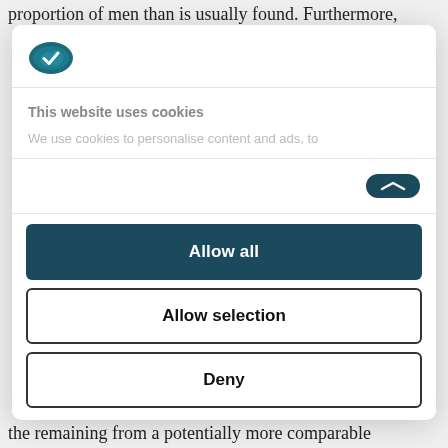proportion of men than is usually found. Furthermore,
[Figure (logo): Cookiebot logo — teal oval shape with white checkmark/cookie icon]
This website uses cookies
We use cookies to personalise content and ads, to
Allow all
Allow selection
Deny
Powered by Cookiebot by Usercentrics
the remaining from a potentially more comparable